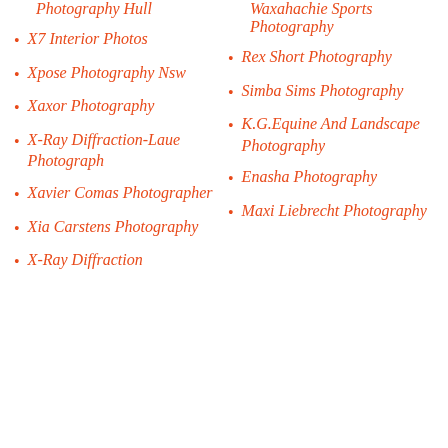Photography Hull
X7 Interior Photos
Xpose Photography Nsw
Xaxor Photography
X-Ray Diffraction-Laue Photograph
Xavier Comas Photographer
Xia Carstens Photography
X-Ray Diffraction
Waxahachie Sports Photography
Rex Short Photography
Simba Sims Photography
K.G.Equine And Landscape Photography
Enasha Photography
Maxi Liebrecht Photography